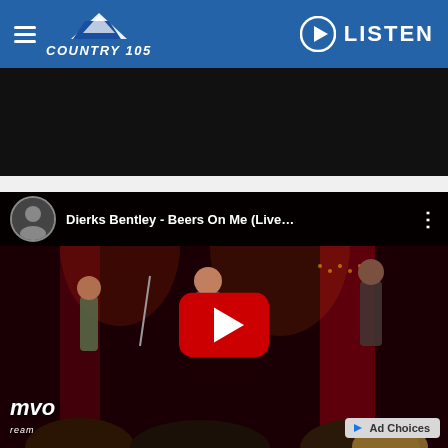Country 105 — LISTEN
[Figure (screenshot): Dark banner area at top of page content]
[Figure (screenshot): YouTube embedded video player showing Dierks Bentley - Beers On Me (Live...) with concert performance scene featuring musicians on a red-lit stage with audience in foreground. YouTube play button overlay visible. VIVO logo in bottom left. Ad Choices badge bottom right.]